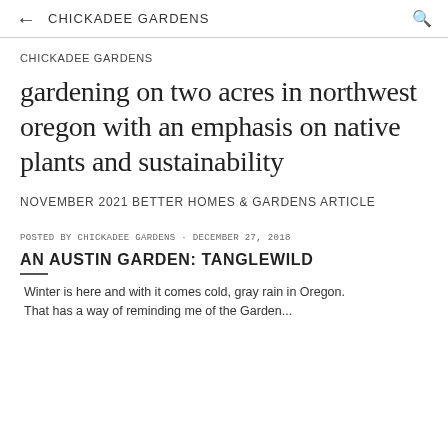← CHICKADEE GARDENS
CHICKADEE GARDENS
gardening on two acres in northwest oregon with an emphasis on native plants and sustainability
NOVEMBER 2021 BETTER HOMES & GARDENS ARTICLE
POSTED BY Chickadee Gardens · December 27, 2018
AN AUSTIN GARDEN: TANGLEWILD
Winter is here and with it comes cold, gray rain in Oregon. That has a way of reminding me of the Garden...